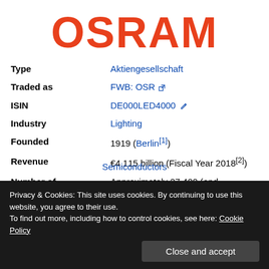[Figure (logo): OSRAM company logo in large orange/red bold text]
| Field | Value |
| --- | --- |
| Type | Aktiengesellschaft |
| Traded as | FWB: OSR |
| ISIN | DE000LED4000 |
| Industry | Lighting |
| Founded | 1919 (Berlin[1]) |
| Revenue | €4.115 billion (Fiscal Year 2018[2]) |
| Number of | Approximately 27,400 (end |
Privacy & Cookies: This site uses cookies. By continuing to use this website, you agree to their use. To find out more, including how to control cookies, see here: Cookie Policy
Close and accept
Semiconductors